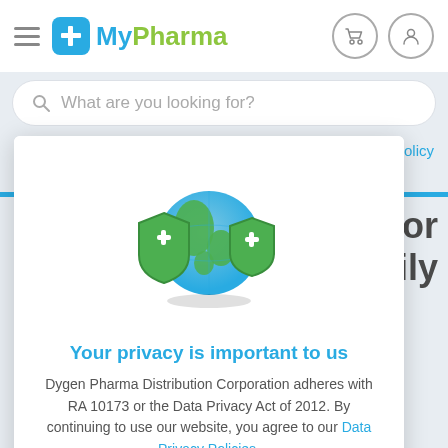[Figure (logo): MyPharma app logo with hamburger menu, blue plus-sign icon in teal box, MyPharma text, cart and user icons]
What are you looking for?
Privacy Policy
ealth For
r Family
[Figure (illustration): Globe with two green medical shield icons with white cross symbols]
Your privacy is important to us
Dygen Pharma Distribution Corporation adheres with RA 10173 or the Data Privacy Act of 2012. By continuing to use our website, you agree to our Data Privacy Policies.
I AGREE